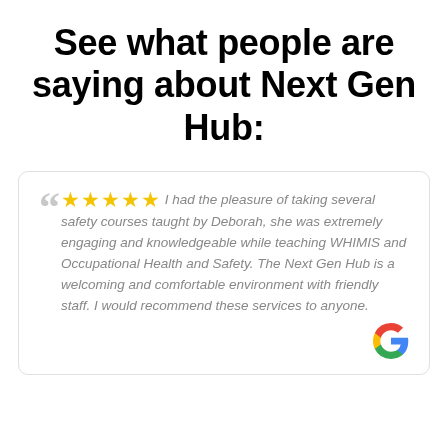See what people are saying about Next Gen Hub:
★★★★★ I had the pleasure of taking several safety courses taught by Deborah, she was extremely engaging and knowledgeable while teaching WHIMIS and Occupational Health and Safety. The Next Gen Hub is a welcoming and comfortable environment with friendly staff. I would recommend these services to anyone.
[Figure (logo): Google 'G' logo in brand colors (red, blue, yellow, green)]